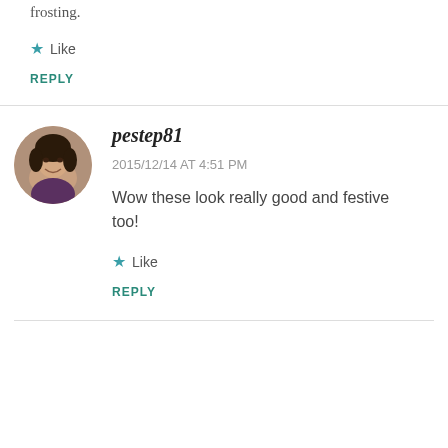frosting.
★ Like
REPLY
[Figure (photo): Avatar photo of user pestep81, a woman with dark hair]
pestep81
2015/12/14 AT 4:51 PM
Wow these look really good and festive too!
★ Like
REPLY